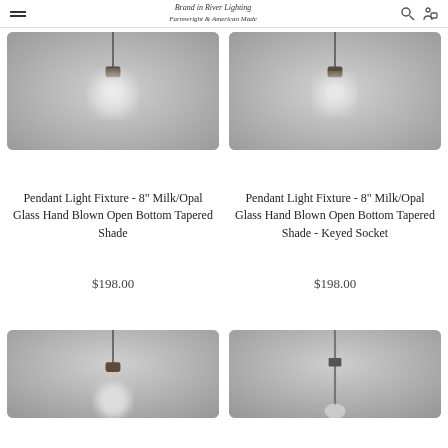Brand in River Lighting / Farmwright & American Made
[Figure (photo): Pendant light fixture product photo - gray background with hanging pendant lamp, blurred globe bulb]
[Figure (photo): Pendant light fixture product photo - gray background with hanging pendant lamp, blurred globe bulb]
Pendant Light Fixture - 8" Milk/Opal Glass Hand Blown Open Bottom Tapered Shade
Pendant Light Fixture - 8" Milk/Opal Glass Hand Blown Open Bottom Tapered Shade - Keyed Socket
$198.00
$198.00
[Figure (photo): Pendant light fixture product photo - gray background with hanging pendant lamp, visible globe bulb at bottom]
[Figure (photo): Pendant light fixture product photo - gray background with hanging pendant lamp, straight rod style]